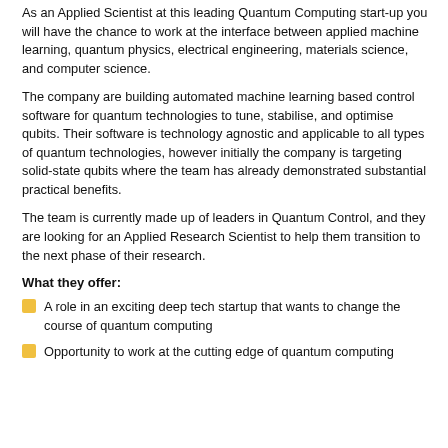As an Applied Scientist at this leading Quantum Computing start-up you will have the chance to work at the interface between applied machine learning, quantum physics, electrical engineering, materials science, and computer science.
The company are building automated machine learning based control software for quantum technologies to tune, stabilise, and optimise qubits. Their software is technology agnostic and applicable to all types of quantum technologies, however initially the company is targeting solid-state qubits where the team has already demonstrated substantial practical benefits.
The team is currently made up of leaders in Quantum Control, and they are looking for an Applied Research Scientist to help them transition to the next phase of their research.
What they offer:
A role in an exciting deep tech startup that wants to change the course of quantum computing
Opportunity to work at the cutting edge of quantum computing